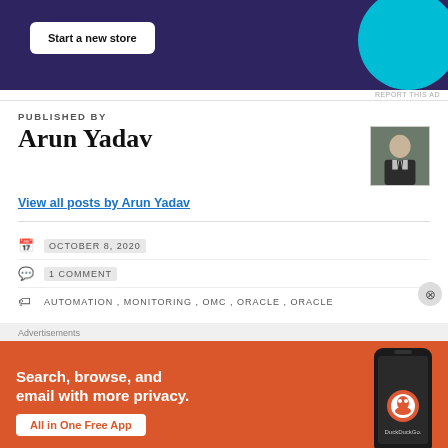[Figure (screenshot): Top advertisement banner with dark purple background, 'Start a new store' white button, and blue circle on right]
REPORT THIS AD
PUBLISHED BY
Arun Yadav
[Figure (photo): Author photo of Arun Yadav in suit]
View all posts by Arun Yadav
OCTOBER 8, 2020
1 COMMENT
AUTOMATION, MONITORING, OMC, ORACLE, ORACLE
Advertisements
[Figure (screenshot): DuckDuckGo advertisement: orange background, 'Search, browse, and email with more privacy. All in One Free App' with phone mockup and DuckDuckGo logo]